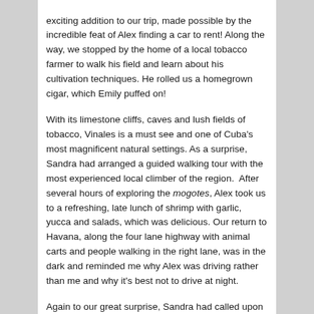exciting addition to our trip, made possible by the incredible feat of Alex finding a car to rent! Along the way, we stopped by the home of a local tobacco farmer to walk his field and learn about his cultivation techniques. He rolled us a homegrown cigar, which Emily puffed on!
With its limestone cliffs, caves and lush fields of tobacco, Vinales is a must see and one of Cuba's most magnificent natural settings. As a surprise, Sandra had arranged a guided walking tour with the most experienced local climber of the region.  After several hours of exploring the mogotes, Alex took us to a refreshing, late lunch of shrimp with garlic, yucca and salads, which was delicious. Our return to Havana, along the four lane highway with animal carts and people walking in the right lane, was in the dark and reminded me why Alex was driving rather than me and why it's best not to drive at night.
Again to our great surprise, Sandra had called upon her friend Hubert, the owner of La Esperanza, to accommodate us for a late dinner. We were exhausted